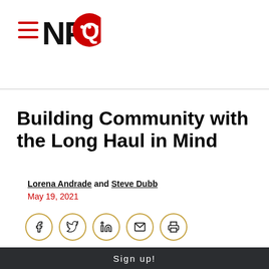[Figure (logo): NPQ logo with hamburger menu icon and red speech bubble with ellipsis]
Building Community with the Long Haul in Mind
Lorena Andrade and Steve Dubb
May 19, 2021
[Figure (other): Social share buttons: Facebook, Twitter, LinkedIn, Email, Print]
[Figure (screenshot): YouTube-style video thumbnail showing NPQ logo and title 'Remaking Economy Webinar: Lor...' with three-dot menu]
Sign up!